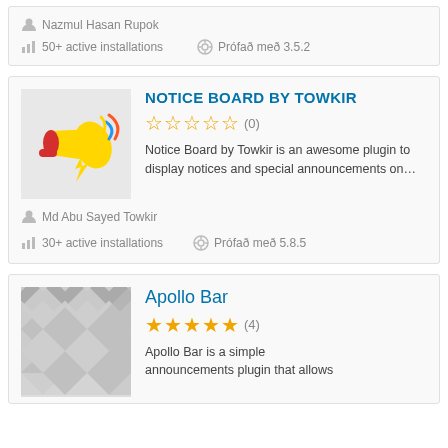Nazmul Hasan Rupok
50+ active installations
Prófað með 3.5.2
NOTICE BOARD BY TOWKIR
[Figure (illustration): Megaphone/bullhorn icon with colorful sound lines]
(0)
Notice Board by Towkir is an awesome plugin to display notices and special announcements on…
Md Abu Sayed Towkir
30+ active installations
Prófað með 5.8.5
Apollo Bar
[Figure (illustration): Gray checkerboard/diamond pattern placeholder image]
(4)
Apollo Bar is a simple announcements plugin that allows